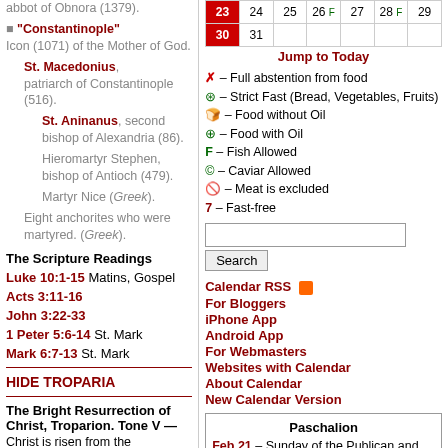abbot of Obnora (1379).
"Constantinople" Icon (1071) of the Mother of God.
St. Macedonius, patriarch of Constantinople (516).
St. Aninanus, second bishop of Alexandria (86).
Hieromartyr Stephen, bishop of Antioch (479).
Martyr Nice (Greek).
Eight anchorites who were martyred. (Greek).
The Scripture Readings
Luke 10:1-15 Matins, Gospel
Acts 3:11-16
John 3:22-33
1 Peter 5:6-14 St. Mark
Mark 6:7-13 St. Mark
HIDE TROPARIA
The Bright Resurrection of Christ, Troparion. Tone V —
Christ is risen from the
| 23 | 24 | 25 | 26 F | 27 | 28 F | 29 |
| --- | --- | --- | --- | --- | --- | --- |
| 30 | 31 |  |  |  |  |  |
Jump to Today
X – Full abstention from food
S – Strict Fast (Bread, Vegetables, Fruits)
– Food without Oil
– Food with Oil
F – Fish Allowed
C – Caviar Allowed
M – Meat is excluded
7 – Fast-free
Calendar RSS | For Bloggers | iPhone App | Android App | For Webmasters | Websites with Calendar | About Calendar | New Calendar Version
Paschalion
Feb 21 – Sunday of the Publican and Pharisee